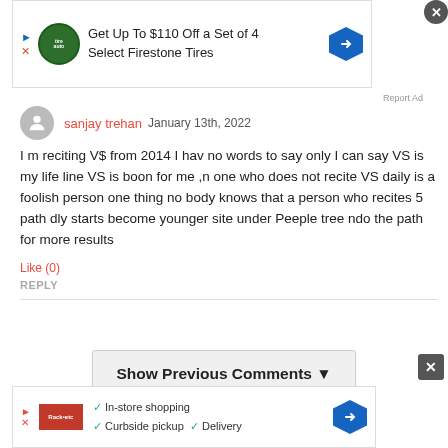[Figure (screenshot): Top advertisement banner: 'Get Up To $110 Off a Set of 4 Select Firestone Tires' with logo and navigation arrow]
Report Ad
sanjay trehan  January 13th, 2022
I m reciting V$ from 2014 I hav no words to say only I can say VS is my life line VS is boon for me ,n one who does not recite VS daily is a foolish person one thing no body knows that a person who recites 5 path dly starts become younger site under Peeple tree ndo the path for more results
Like (0)
REPLY
Show Previous Comments ▼
[Figure (screenshot): Bottom advertisement banner with checkmarks: In-store shopping, Curbside pickup, Delivery, with navigation arrow]